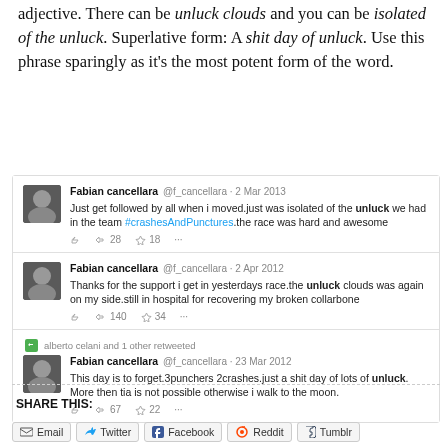adjective. There can be unluck clouds and you can be isolated of the unluck. Superlative form: A shit day of unluck. Use this phrase sparingly as it's the most potent form of the word.
[Figure (screenshot): Three embedded tweets from Fabian Cancellara (@f_cancellara) showing usage of the word 'unluck': (1) 2 Mar 2013, about being isolated of the unluck, 28 retweets 18 favorites; (2) 2 Apr 2012, about unluck clouds and broken collarbone, 140 retweets 34 favorites; (3) 23 Mar 2012, about a shit day of lots of unluck, retweeted by alberto celani and 1 other, 67 retweets 22 favorites.]
SHARE THIS:
Email  Twitter  Facebook  Reddit  Tumblr